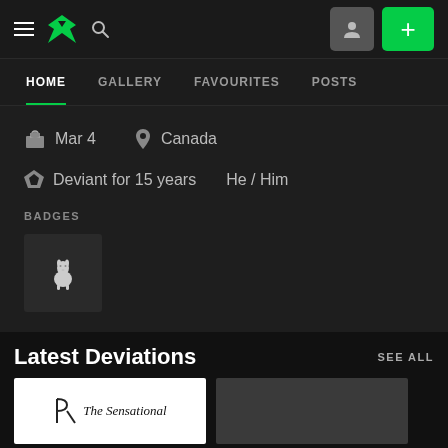DeviantArt navigation bar with hamburger menu, DA logo, search icon, profile button, and add (+) button
HOME | GALLERY | FAVOURITES | POSTS
Mar 4  Canada
Deviant for 15 years  He / Him
BADGES
[Figure (illustration): Llama badge icon in a dark square tile]
Latest Deviations
SEE ALL
[Figure (screenshot): Thumbnail showing 'The Sensational' text with a pen logo]
[Figure (photo): Dark grey thumbnail image]